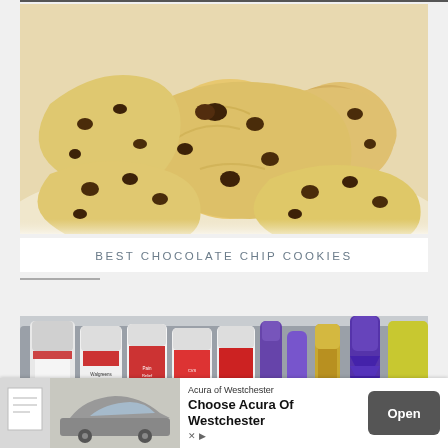[Figure (photo): Photo of a pile of chocolate chip cookies on a white plate, close-up shot showing golden brown cookies with chocolate chips]
BEST CHOCOLATE CHIP COOKIES
[Figure (photo): Photo of various medicine/pill bottles including Advil, Walgreens Pain Relief, and other medication bottles arranged in a container]
[Figure (other): Advertisement banner for Acura of Westchester with car image and 'Choose Acura Of Westchester' text and Open button]